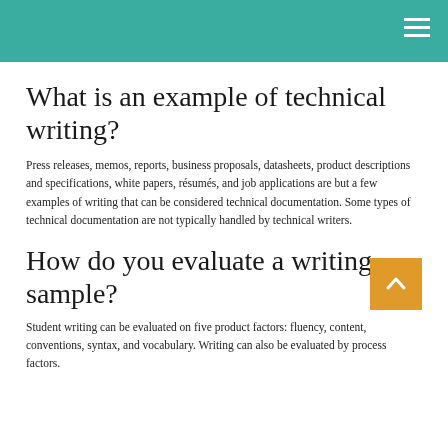What is an example of technical writing?
Press releases, memos, reports, business proposals, datasheets, product descriptions and specifications, white papers, résumés, and job applications are but a few examples of writing that can be considered technical documentation. Some types of technical documentation are not typically handled by technical writers.
How do you evaluate a writing sample?
Student writing can be evaluated on five product factors: fluency, content, conventions, syntax, and vocabulary. Writing can also be evaluated by process factors.